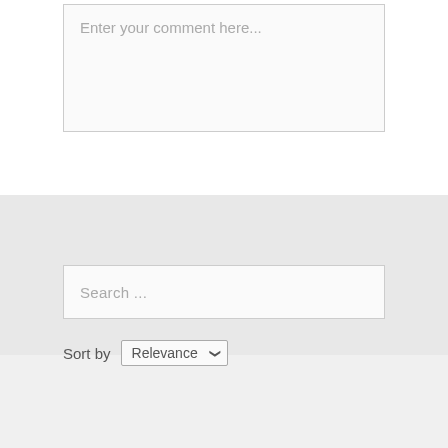Enter your comment here...
Search ...
Sort by Relevance